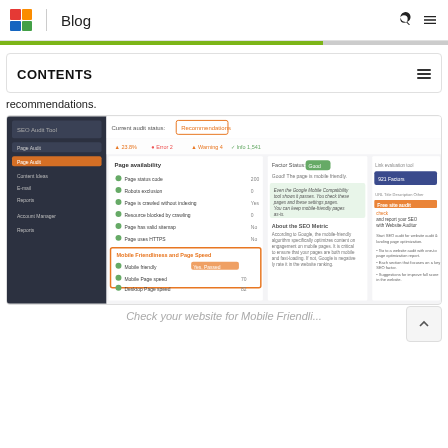Blog
CONTENTS
recommendations.
[Figure (screenshot): Screenshot of a website SEO audit tool interface showing page audit results with mobile friendliness and page speed metrics, with recommendations panel highlighted]
Check your website for Mobile Friendli...